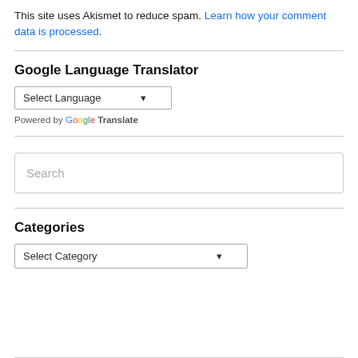This site uses Akismet to reduce spam. Learn how your comment data is processed.
Google Language Translator
[Figure (screenshot): Google Language Translator widget with a 'Select Language' dropdown and 'Powered by Google Translate' text]
[Figure (screenshot): Search input box with placeholder text 'Search']
Categories
[Figure (screenshot): Categories dropdown with 'Select Category' option]